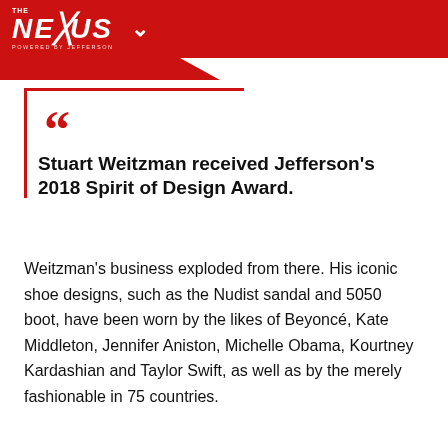THE NEXUS — POWERED BY JEFFERSON
Stuart Weitzman received Jefferson’s 2018 Spirit of Design Award.
Weitzman’s business exploded from there. His iconic shoe designs, such as the Nudist sandal and 5050 boot, have been worn by the likes of Beyoncé, Kate Middleton, Jennifer Aniston, Michelle Obama, Kourtney Kardashian and Taylor Swift, as well as by the merely fashionable in 75 countries.